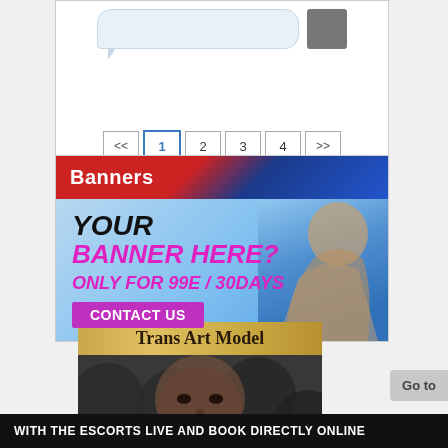[Figure (screenshot): Pagination navigation showing page buttons <<, 1, 2, 3, 4, >> with page 1 active/highlighted with blue border]
[Figure (screenshot): Banners section with red/blue gradient header labeled 'Banners' and an advertisement image showing 'YOUR BANNER HERE? ONLY FOR 99E / 30DAYS CONTACT US' with woman figure on blue background]
[Figure (screenshot): Trans Art Model card with gold header text and dark photo of woman's face]
WITH THE ESCORTS LIVE AND BOOK DIRECTLY ONLINE